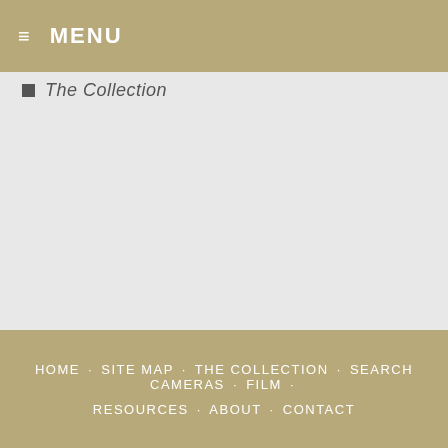≡ MENU
The Collection
HOME · SITE MAP · THE COLLECTION · SEARCH CAMERAS · FILM · RESOURCES · ABOUT · CONTACT